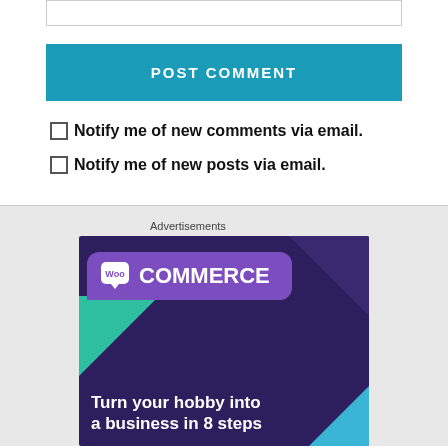[input box]
POST COMMENT
Notify me of new comments via email.
Notify me of new posts via email.
Advertisements
[Figure (illustration): WooCommerce advertisement banner with purple background, WooCommerce logo, green and blue triangular decorative shapes, and text reading 'Turn your hobby into a business in 8 steps']